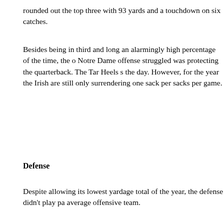rounded out the top three with 93 yards and a touchdown on six catches.
Besides being in third and long an alarmingly high percentage of the time, the other area the Notre Dame offense struggled was protecting the quarterback. The Tar Heels s the day. However, for the year the Irish are still only surrendering one sack per sacks per game.
Defense
Despite allowing its lowest yardage total of the year, the defense didn't play pa average offensive team.
Notre Dame allowed the Tar Heels to convert 46.2 percent of third downs and a points. On the year the Irish are allowing 76.2 percent of opponent red zone op Only against Purdue did the Irish display something resembling red zone efficie
North Carolina averaged five yards per play, 4.2 yards per rush (excluding the s pass attempt, and 11.2 yards per completion. All of those numbers hover right for the Irish. All of those numbers aren't very respectable.
Backup quarterback Cameron Sexton completed better than 56 percent of his to wide receiver Hakeem Nicks, who caught nine balls for 141 yards (more tha passing yardage). Even though the Irish defense had to know it was coming, N